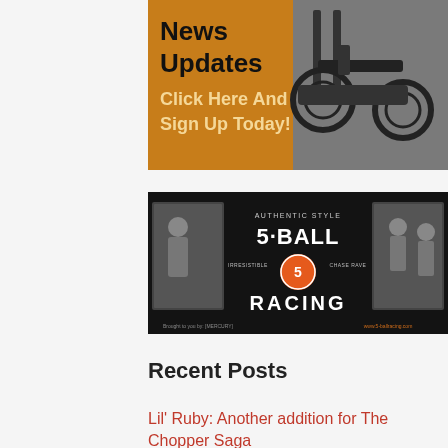[Figure (illustration): Orange banner advertisement with motorcycle image. Text reads 'News Updates' in black bold, 'Click Here And Sign Up Today!' in cream/tan bold. Motorcycle image on right side in black and white.]
[Figure (illustration): 5-Ball Racing dark banner with logo. Text reads 'AUTHENTIC STYLE', '5-BALL', 'RACING' with an orange billiard ball numbered 5. Side text: 'IRRESISTIBLE' and 'CHASE RAVE'. Photos of people and motorcycles on left and right sides.]
Recent Posts
Lil' Ruby: Another addition for The Chopper Saga